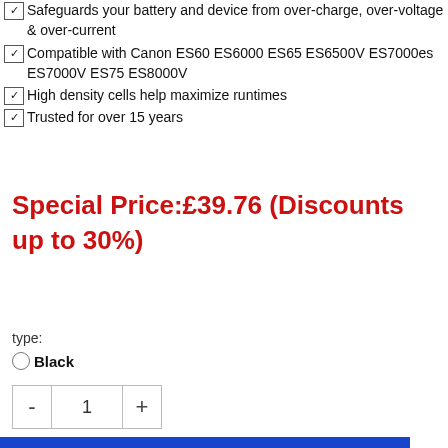Safeguards your battery and device from over-charge, over-voltage & over-current
Compatible with Canon ES60 ES6000 ES65 ES6500V ES7000es ES7000V ES75 ES8000V
High density cells help maximize runtimes
Trusted for over 15 years
Special Price:£39.76 (Discounts up to 30%)
type:
Black
1
Add to Cart
Want to buy In bulk? Click Contact us